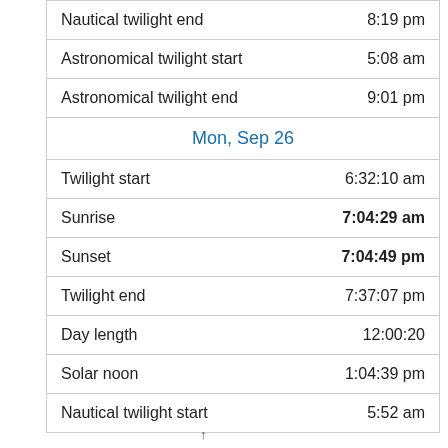| Event | Time |
| --- | --- |
| Nautical twilight end | 8:19 pm |
| Astronomical twilight start | 5:08 am |
| Astronomical twilight end | 9:01 pm |
| Mon, Sep 26 |  |
| Twilight start | 6:32:10 am |
| Sunrise | 7:04:29 am |
| Sunset | 7:04:49 pm |
| Twilight end | 7:37:07 pm |
| Day length | 12:00:20 |
| Solar noon | 1:04:39 pm |
| Nautical twilight start | 5:52 am |